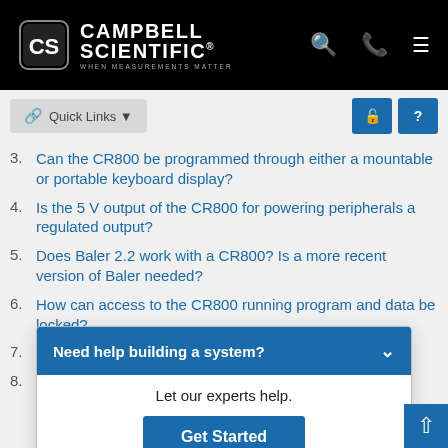Campbell Scientific — When Measurements Matter
Quick Links
3. Can the CR800 be programmed through either a mountable or portable keyboard display?
4. Is the 5 V output of the CR800 for powering peripherals a regulated output?
5. Does Baler 2.2 work with a CR800? Is a more recent version of Baler needed?
6. How can access to the CR800 running program and data be locked?
7. Does the CR... (maximum) ...ction like the CR1...
8. What is the ...800 or CR850 without damaging the data logger?
Need help building a system? Let our experts help. Get Started